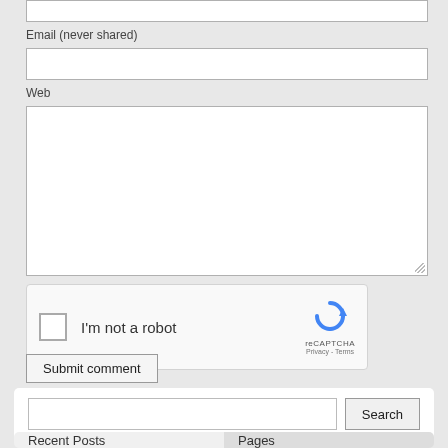[Figure (screenshot): Top portion of a web form showing a text input box (cut off at top), partially visible]
Email (never shared)
[Figure (screenshot): Email input text field, empty]
Web
[Figure (screenshot): Large textarea input for comment/message, empty]
[Figure (screenshot): reCAPTCHA widget with checkbox labeled I'm not a robot]
[Figure (screenshot): Submit comment button]
[Figure (screenshot): Search bar with Search button]
Recent Posts
Pages